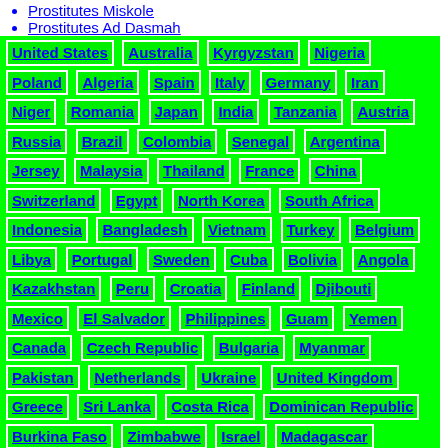Prostitutes Miskole
Prostitutes Ad Dasmah
United States Australia Kyrgyzstan Nigeria Poland Algeria Spain Italy Germany Iran Niger Romania Japan India Tanzania Austria Russia Brazil Colombia Senegal Argentina Jersey Malaysia Thailand France China Switzerland Egypt North Korea South Africa Indonesia Bangladesh Vietnam Turkey Belgium Libya Portugal Sweden Cuba Bolivia Angola Kazakhstan Peru Croatia Finland Djibouti Mexico El Salvador Philippines Guam Yemen Canada Czech Republic Bulgaria Myanmar Pakistan Netherlands Ukraine United Kingdom Greece Sri Lanka Costa Rica Dominican Republic Burkina Faso Zimbabwe Israel Madagascar Slovakia Democratic Republic of the Congo Uruguay Kenya Serbia Sudan Cameroon Rwanda Hungary Palau Kosovo Ivory Coast Ecuador Qatar Togo Guinea Mali Venezuela Slovenia Kuwait Taiwan South Korea Mauritius Gabon Azerbaijan Georgia Afghanistan Uzbekistan Fiji Bahamas Belarus Nepal Uganda Macedonia British Virgin Islands Morocco Panama Saint Vincent and the Grenadines Guatemala Benin Cambodia Tunisia Paraguay Oman